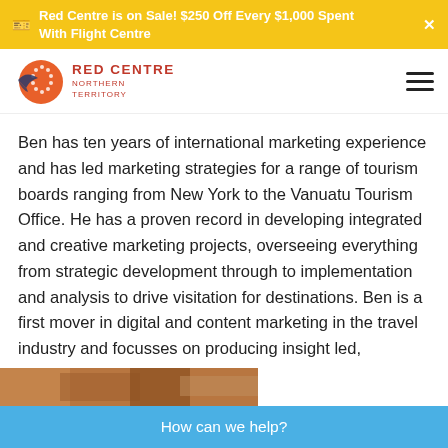Red Centre is on Sale! $250 Off Every $1,000 Spent With Flight Centre
[Figure (logo): Red Centre Northern Territory logo with bird and circle icon]
Ben has ten years of international marketing experience and has led marketing strategies for a range of tourism boards ranging from New York to the Vanuatu Tourism Office. He has a proven record in developing integrated and creative marketing projects, overseeing everything from strategic development through to implementation and analysis to drive visitation for destinations. Ben is a first mover in digital and content marketing in the travel industry and focusses on producing insight led, imaginative and beautiful work.
[Figure (photo): Partial photo visible at bottom of page, warm brown tones]
How can we help?